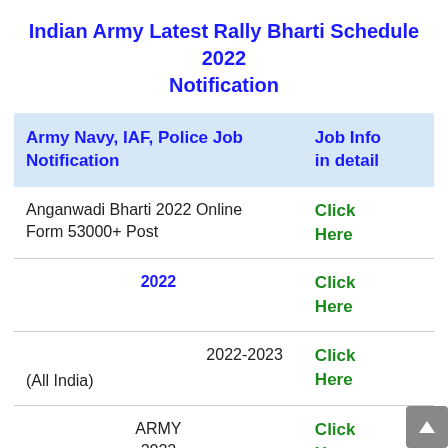Indian Army Latest Rally Bharti Schedule 2022 Notification
| Army Navy, IAF, Police Job Notification | Job Info in detail |
| --- | --- |
| Anganwadi Bharti 2022 Online Form 53000+ Post | Click Here |
| 2022 | Click Here |
| 2022-2023
(All India) | Click Here |
| ARMY
2022 | Click Here |